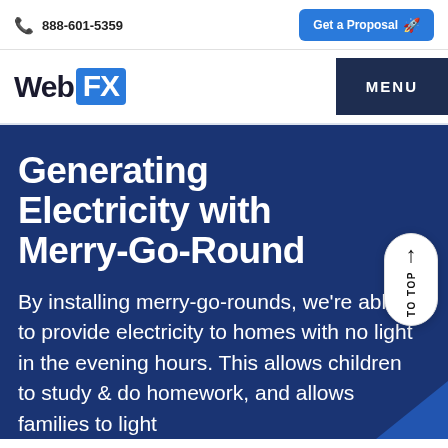☎ 888-601-5359   Get a Proposal 🚀
[Figure (logo): WebFX logo with 'Web' in dark text and 'FX' in white on blue background, plus MENU button]
Generating Electricity with Merry-Go-Round
By installing merry-go-rounds, we're able to provide electricity to homes with no light in the evening hours. This allows children to study & do homework, and allows families to light